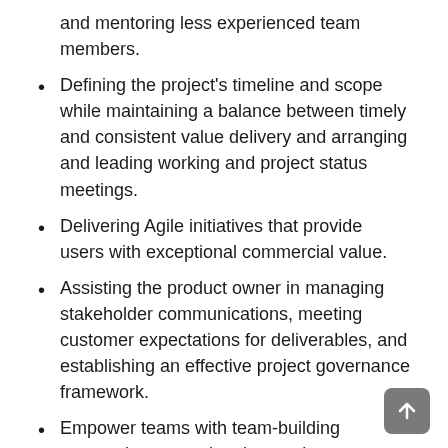and mentoring less experienced team members.
Defining the project's timeline and scope while maintaining a balance between timely and consistent value delivery and arranging and leading working and project status meetings.
Delivering Agile initiatives that provide users with exceptional commercial value.
Assisting the product owner in managing stakeholder communications, meeting customer expectations for deliverables, and establishing an effective project governance framework.
Empower teams with team-building approaches, ensuring that each team member contributes meaningfully and is wholly involved in the project.
Additionally, the APM may be responsible for managing multiple concurrent high-profile projects. APMs are accustomed to working in a fast-paced setting that